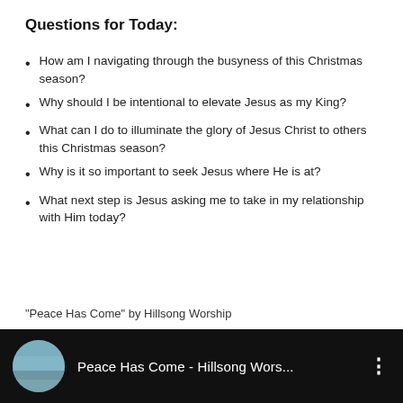Questions for Today:
How am I navigating through the busyness of this Christmas season?
Why should I be intentional to elevate Jesus as my King?
What can I do to illuminate the glory of Jesus Christ to others this Christmas season?
Why is it so important to seek Jesus where He is at?
What next step is Jesus asking me to take in my relationship with Him today?
“Peace Has Come” by Hillsong Worship
[Figure (screenshot): YouTube video thumbnail showing 'Peace Has Come - Hillsong Wors...' with a circular profile image on a black background with three-dot menu icon.]